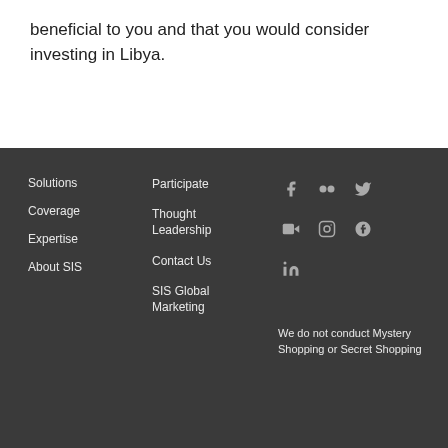beneficial to you and that you would consider investing in Libya.
Solutions
Coverage
Expertise
About SIS
Participate
Thought Leadership
Contact Us
SIS Global Marketing
We do not conduct Mystery Shopping or Secret Shopping